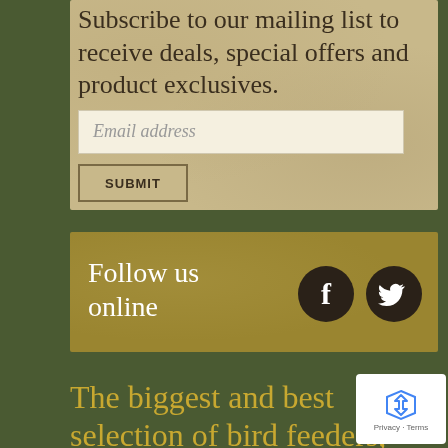Subscribe to our mailing list to receive deals, special offers and product exclusives.
Email address
SUBMIT
Follow us online
[Figure (illustration): Facebook and Twitter social media icons (dark circular icons with white logos)]
The biggest and best selection of bird feeders, houses, and hardware in
[Figure (logo): reCAPTCHA badge with recycling-style logo and Privacy Terms text]